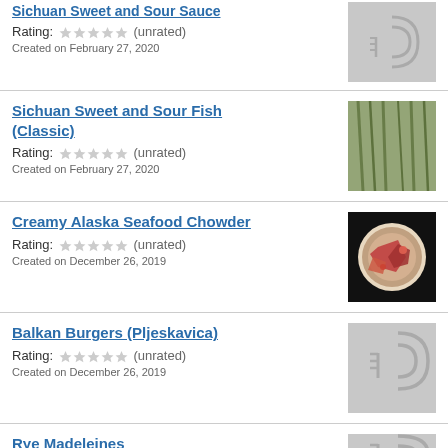Sichuan Sweet and Sour Sauce (partial, top)
Rating: (unrated)
Created on February 27, 2020
Sichuan Sweet and Sour Fish (Classic)
Rating: (unrated)
Created on February 27, 2020
Creamy Alaska Seafood Chowder
Rating: (unrated)
Created on December 26, 2019
Balkan Burgers (Pljeskavica)
Rating: (unrated)
Created on December 26, 2019
Rye Madeleines (partial, bottom)